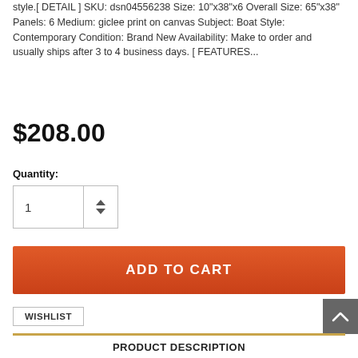style.[ DETAIL ] SKU: dsn04556238 Size: 10"x38"x6 Overall Size: 65"x38" Panels: 6 Medium: giclee print on canvas Subject: Boat Style: Contemporary Condition: Brand New Availability: Make to order and usually ships after 3 to 4 business days. [ FEATURES...
$208.00
Quantity:
[Figure (other): Quantity spinner input box with number 1 and up/down arrows]
[Figure (other): Orange ADD TO CART button]
WISHLIST
To add this product to your wish list you must Sign In or Create an account
PRODUCT DESCRIPTION